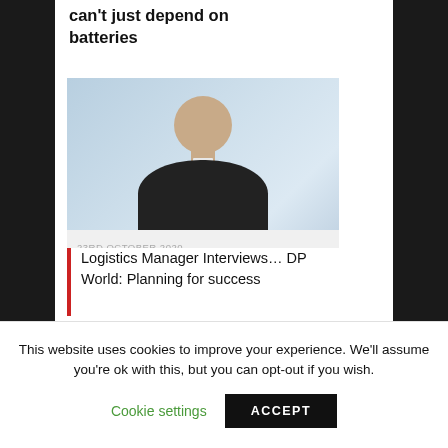can't just depend on batteries
[Figure (photo): Portrait photo of a middle-aged bald man in a dark suit, with a light background. Dated 23RD OCTOBER 2020.]
23RD OCTOBER 2020
Logistics Manager Interviews… DP World: Planning for success
This website uses cookies to improve your experience. We'll assume you're ok with this, but you can opt-out if you wish.
Cookie settings   ACCEPT